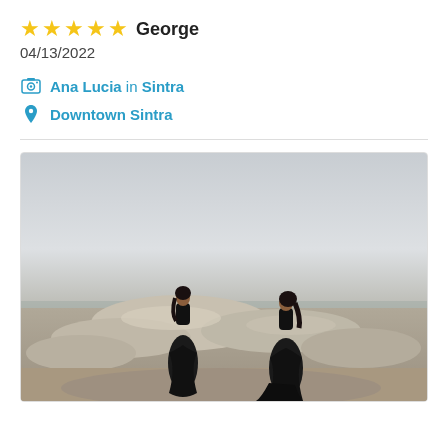★★★★★ George
04/13/2022
Ana Lucia in Sintra
Downtown Sintra
[Figure (photo): Two women in long black dresses standing on rocky hilltop with panoramic view under overcast sky, in Sintra, Portugal]